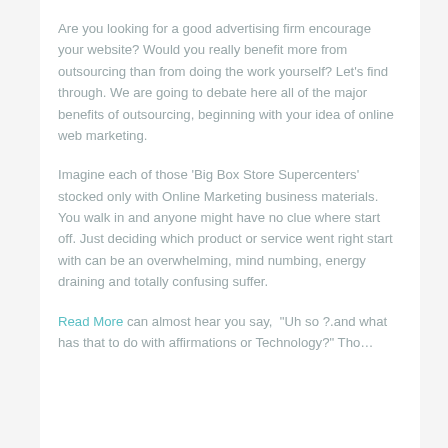Are you looking for a good advertising firm encourage your website? Would you really benefit more from outsourcing than from doing the work yourself? Let's find through. We are going to debate here all of the major benefits of outsourcing, beginning with your idea of online web marketing.
Imagine each of those 'Big Box Store Supercenters' stocked only with Online Marketing business materials. You walk in and anyone might have no clue where start off. Just deciding which product or service went right start with can be an overwhelming, mind numbing, energy draining and totally confusing suffer.
Read More can almost hear you say, "Uh so ?.and what has that to do with affirmations or Technology?" Tho...